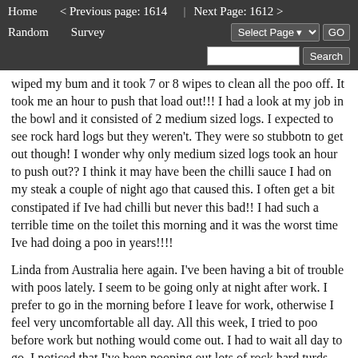Home   < Previous page: 1614   |   Next Page: 1612 >   Random   Survey   Select Page ▾   GO   Search
wiped my bum and it took 7 or 8 wipes to clean all the poo off. It took me an hour to push that load out!!! I had a look at my job in the bowl and it consisted of 2 medium sized logs. I expected to see rock hard logs but they weren't. They were so stubbotn to get out though! I wonder why only medium sized logs took an hour to push out?? I think it may have been the chilli sauce I had on my steak a couple of night ago that caused this. I often get a bit constipated if Ive had chilli but never this bad!! I had such a terrible time on the toilet this morning and it was the worst time Ive had doing a poo in years!!!!
Linda from Australia here again. I've been having a bit of trouble with poos lately. I seem to be going only at night after work. I prefer to go in the morning before I leave for work, otherwise I feel very uncomfortable all day. All this week, I tried to poo before work but nothing would come out. I had to wait all day to go. I noticed that I've been pooping out lots of rock hard turds. Last night I did a small load but each log was hard as a rock. As each log